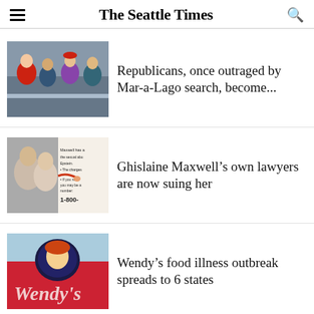The Seattle Times
[Figure (photo): Group of people on a balcony including a person in a red cap]
Republicans, once outraged by Mar-a-Lago search, become...
[Figure (photo): Ghislaine Maxwell and Jeffrey Epstein photo alongside a court document]
Ghislaine Maxwell’s own lawyers are now suing her
[Figure (photo): Wendy's restaurant sign]
Wendy’s food illness outbreak spreads to 6 states